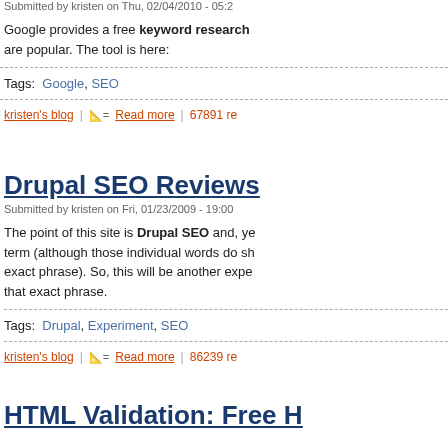Submitted by kristen on Thu, 02/04/2010 - 05:2
Google provides a free keyword research and, ye... are popular. The tool is here:
Tags:  Google,  SEO
kristen's blog  |  Read more  |  67891 re
Drupal SEO Reviews
Submitted by kristen on Fri, 01/23/2009 - 19:00
The point of this site is Drupal SEO and, ye... term (although those individual words do sh... exact phrase). So, this will be another expe... that exact phrase.
Tags:  Drupal,  Experiment,  SEO
kristen's blog  |  Read more  |  86239 re
HTML Validation: Free H